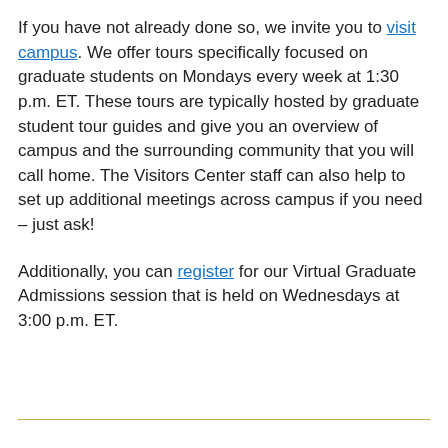If you have not already done so, we invite you to visit campus. We offer tours specifically focused on graduate students on Mondays every week at 1:30 p.m. ET. These tours are typically hosted by graduate student tour guides and give you an overview of campus and the surrounding community that you will call home. The Visitors Center staff can also help to set up additional meetings across campus if you need – just ask!
Additionally, you can register for our Virtual Graduate Admissions session that is held on Wednesdays at 3:00 p.m. ET.